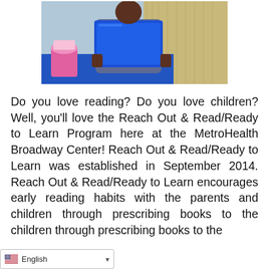[Figure (photo): A child holding a blue tablet/laptop, sitting at a blue table with a pink cup nearby, in front of a hay/straw background.]
Do you love reading? Do you love children? Well, you'll love the Reach Out & Read/Ready to Learn Program here at the MetroHealth Broadway Center! Reach Out & Read/Ready to Learn was established in September 2014. Reach Out & Read/Ready to Learn encourages early reading habits with the parents and children through prescribing books to the child wellness visits. We
English